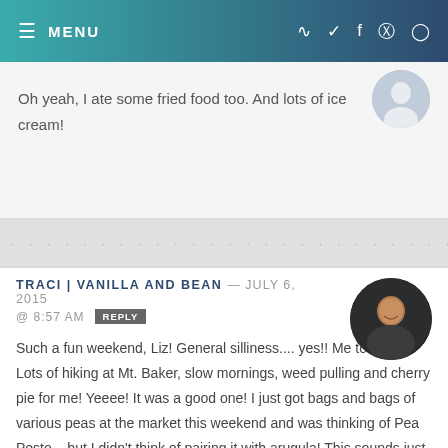MENU
Oh yeah, I ate some fried food too. And lots of ice cream!
TRACI | VANILLA AND BEAN — JULY 6, 2015 @ 8:57 AM REPLY
Such a fun weekend, Liz! General silliness.... yes!! Me tooooo!! Lots of hiking at Mt. Baker, slow mornings, weed pulling and cherry pie for me! Yeeee! It was a good one! I just got bags and bags of various peas at the market this weekend and was thinking of Pea Pesto... but I didn't think of pairing it with arugula! This sounds just fabulous Liz... I love the vibrancy of pesto, especially pea pesto! Slather it on